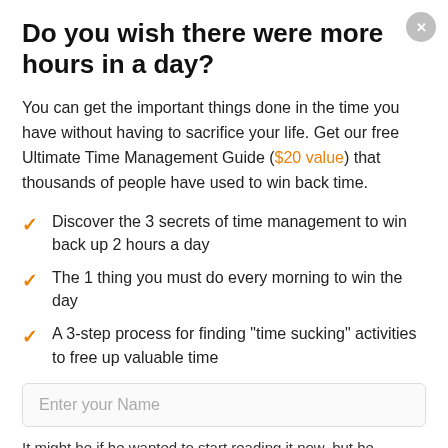Do you wish there were more hours in a day?
You can get the important things done in the time you have without having to sacrifice your life. Get our free Ultimate Time Management Guide ($20 value) that thousands of people have used to win back time.
Discover the 3 secrets of time management to win back up 2 hours a day
The 1 thing you must do every morning to win the day
A 3-step process for finding "time sucking" activities to free up valuable time
Enter your Name
It might be if he wanted to start reading it now, but he